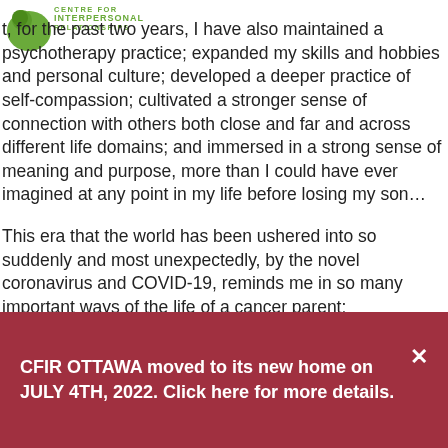[Figure (logo): Centre for Interpersonal Relationships logo with green circle and text]
t, for the past two years, I have also maintained a psychotherapy practice; expanded my skills and hobbies and personal culture; developed a deeper practice of self-compassion; cultivated a stronger sense of connection with others both close and far and across different life domains; and immersed in a strong sense of meaning and purpose, more than I could have ever imagined at any point in my life before losing my son…
This era that the world has been ushered into so suddenly and most unexpectedly, by the novel coronavirus and COVID-19, reminds me in so many important ways of the life of a cancer parent:
CFIR OTTAWA moved to its new home on JULY 4TH, 2022. Click here for more details.